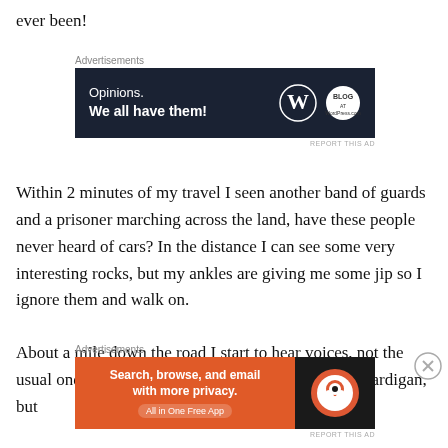ever been!
[Figure (other): WordPress advertisement banner: 'Opinions. We all have them!' with WordPress and related logos on dark navy background]
Within 2 minutes of my travel I seen another band of guards and a prisoner marching across the land, have these people never heard of cars? In the distance I can see some very interesting rocks, but my ankles are giving me some jip so I ignore them and walk on.
About a mile down the road I start to hear voices, not the usual ones in my head telling me to put on another cardigan, but
[Figure (other): DuckDuckGo advertisement banner: 'Search, browse, and email with more privacy. All in One Free App' on orange background with DuckDuckGo logo]